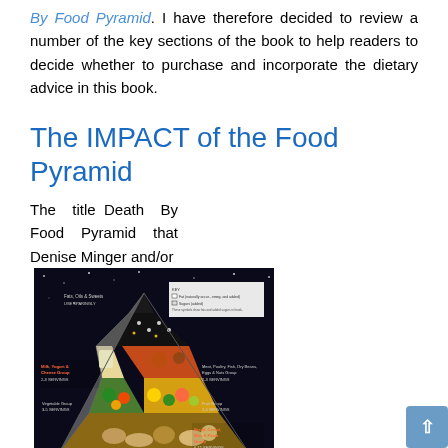By Food Pyramid. I have therefore decided to review a number of the key sections of the book to help readers to decide whether to purchase and incorporate the dietary advice in this book.
The IMPACT of the Food Pyramid
The title Death By Food Pyramid that Denise Minger and/or
[Figure (illustration): The original USDA Food Pyramid from 1992, showing the classic triangular food pyramid with different food groups arranged in sections from base to tip, on a black starry background.]
The original USDA Food Pyramid from 1992
publisher chose for this book provides readers with the false impression that Americans (and people in other